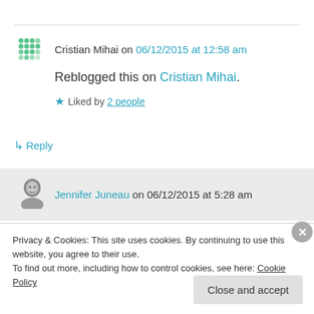Cristian Mihai on 06/12/2015 at 12:58 am
Reblogged this on Cristian Mihai.
Liked by 2 people
↳ Reply
Jennifer Juneau on 06/12/2015 at 5:28 am
Privacy & Cookies: This site uses cookies. By continuing to use this website, you agree to their use.
To find out more, including how to control cookies, see here: Cookie Policy
Close and accept